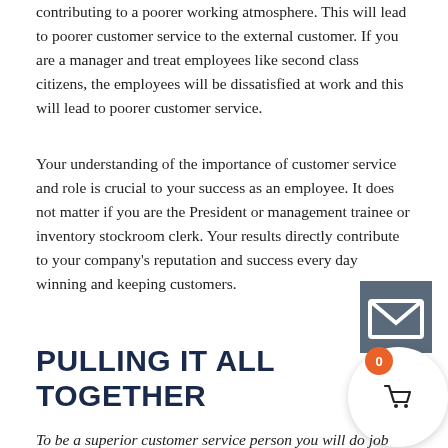contributing to a poorer working atmosphere. This will lead to poorer customer service to the external customer. If you are a manager and treat employees like second class citizens, the employees will be dissatisfied at work and this will lead to poorer customer service.
Your understanding of the importance of customer service and role is crucial to your success as an employee. It does not matter if you are the President or management trainee or inventory stockroom clerk. Your results directly contribute to your company's reputation and success every day winning and keeping customers.
PULLING IT ALL TOGETHER
To be a superior customer service person you will do job